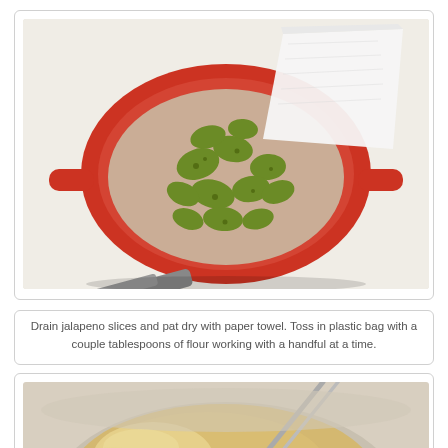[Figure (photo): A red colander/strainer holding drained pickled jalapeno slices, with a white paper towel being used to pat them dry. A knife handle is visible to the lower left.]
Drain jalapeno slices and pat dry with paper towel.  Toss in plastic bag with a couple tablespoons of flour working with a handful at a time.
[Figure (photo): A bowl containing a yellowish batter or egg mixture being stirred with metal tongs or a whisk, with visible black specks throughout the batter.]